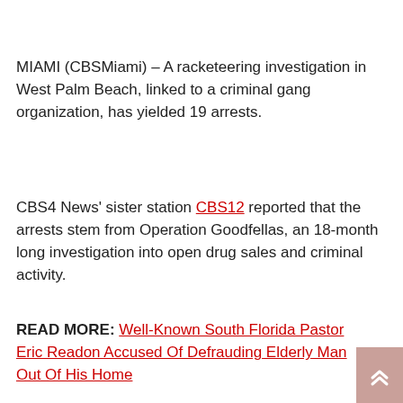MIAMI (CBSMiami) – A racketeering investigation in West Palm Beach, linked to a criminal gang organization, has yielded 19 arrests.
CBS4 News' sister station CBS12 reported that the arrests stem from Operation Goodfellas, an 18-month long investigation into open drug sales and criminal activity.
READ MORE: Well-Known South Florida Pastor Eric Readon Accused Of Defrauding Elderly Man Out Of His Home
The arrests were announced by Mayor Keith James, West Palm Beach Police Chief Frank Adderley and State